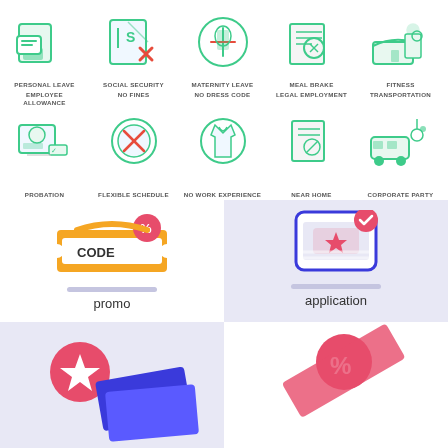[Figure (infographic): Grid of 10 icons: Personal Leave, Social Security, Maternity Leave, Meal Brake, Fitness, Employee Allowance, No Fines, No Dress Code, Legal Employment, Transportation]
[Figure (infographic): Second row of 5 icons: Probation, Flexible Schedule, No Work Experience, Near Home, Corporate Party]
[Figure (illustration): Promo card with coupon code illustration and label 'promo']
[Figure (illustration): Application card with phone app illustration and label 'application']
[Figure (illustration): Bottom left card with star/rating illustration (partially visible)]
[Figure (illustration): Bottom right card with percent/discount illustration (partially visible)]